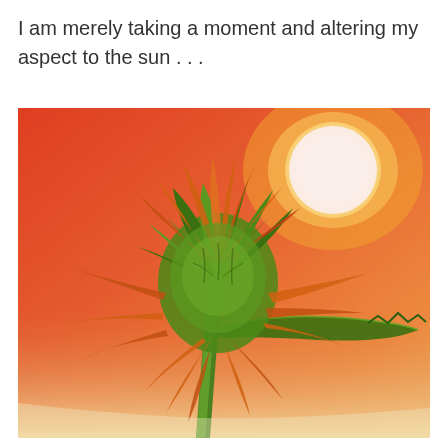I am merely taking a moment and altering my aspect to the sun . . .
[Figure (illustration): Colored pencil illustration of a sunflower bud viewed from behind, tilted sideways against a warm orange-red sunset sky with a large white/yellow glowing sun in the upper right corner. The sunflower shows green sepals and orange petals radiating outward, with a green stem.]